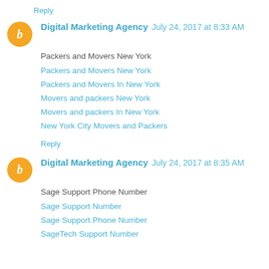Reply
Digital Marketing Agency  July 24, 2017 at 8:33 AM
Packers and Movers New York
Packers and Movers New York
Packers and Movers In New York
Movers and packers New York
Movers and packers In New York
New York City Movers and Packers
Reply
Digital Marketing Agency  July 24, 2017 at 8:35 AM
Sage Support Phone Number
Sage Support Number
Sage Support Phone Number
SageTech Support Number